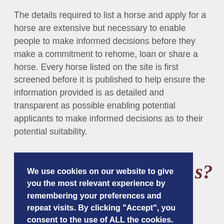The details required to list a horse and apply for a horse are extensive but necessary to enable people to make informed decisions before they make a commitment to rehome, loan or share a horse. Every horse listed on the site is first screened before it is published to help ensure the information provided is as detailed and transparent as possible enabling potential applicants to make informed decisions as to their potential suitability.
s?
[Figure (other): Cookie consent banner overlay with dark navy background. Contains text: 'We use cookies on our website to give you the most relevant experience by remembering your preferences and repeat visits. By clicking "Accept", you consent to the use of ALL the cookies.' Two buttons: 'Cookie settings' (gold underlined link) and 'ACCEPT' (red button).]
Regular tips